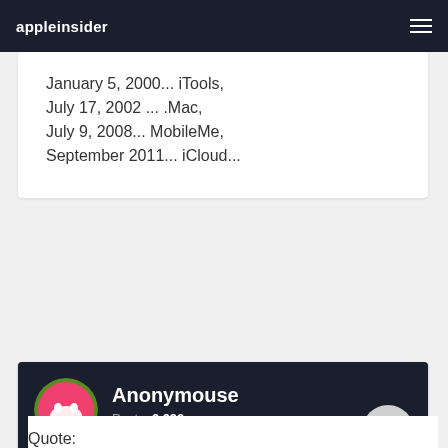appleinsider
January 5, 2000... iTools,
July 17, 2002 ... .Mac,
July 9, 2008... MobileMe,
September 2011... iCloud...
Anonymouse
Posts: 6,690
April 28, 2011 12:47PM
Quote: